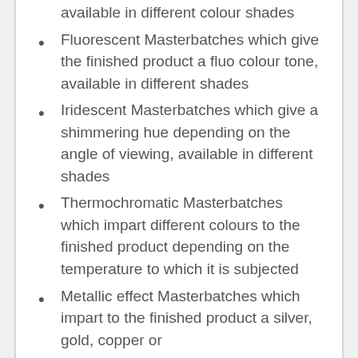available in different colour shades
Fluorescent Masterbatches which give the finished product a fluo colour tone, available in different shades
Iridescent Masterbatches which give a shimmering hue depending on the angle of viewing, available in different shades
Thermochromatic Masterbatches which impart different colours to the finished product depending on the temperature to which it is subjected
Metallic effect Masterbatches which impart to the finished product a silver, gold, copper or...